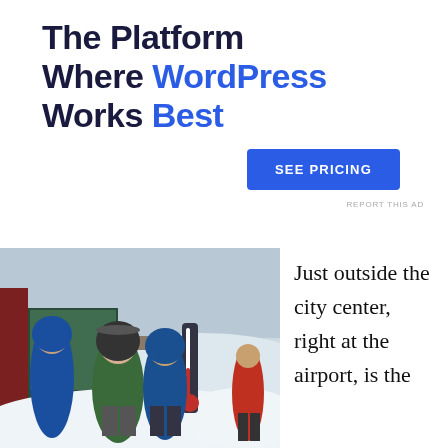The Platform Where WordPress Works Best
SEE PRICING
REPORT THIS AD
[Figure (photo): People in winter coats standing outdoors in a snowy setting next to a large thermometer. Background shows snowy landscape and tents.]
Just outside the city center, right at the airport, is the